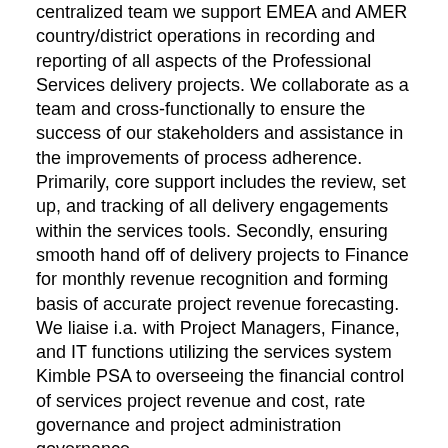centralized team we support EMEA and AMER country/district operations in recording and reporting of all aspects of the Professional Services delivery projects. We collaborate as a team and cross-functionally to ensure the success of our stakeholders and assistance in the improvements of process adherence. Primarily, core support includes the review, set up, and tracking of all delivery engagements within the services tools. Secondly, ensuring smooth hand off of delivery projects to Finance for monthly revenue recognition and forming basis of accurate project revenue forecasting. We liaise i.a. with Project Managers, Finance, and IT functions utilizing the services system Kimble PSA to overseeing the financial control of services project revenue and cost, rate governance and project administration governance.
What you'll be doing
Providing Kimble PSA user support across multiple